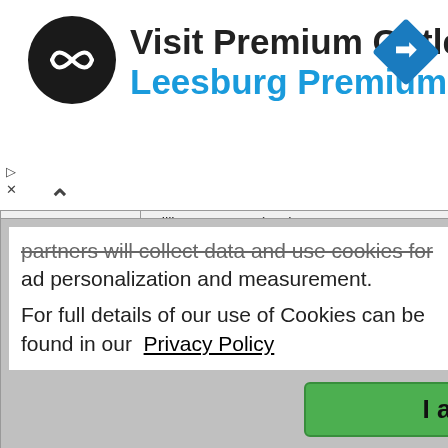[Figure (screenshot): Advertisement banner for Premium Outlets with black circular logo with infinity-like symbol, text 'Visit Premium Outlets®' and 'Leesburg Premium Outlets' in blue, and a blue diamond navigation icon on the right.]
partners will collect data and use cookies for ad personalization and measurement.
For full details of our use of Cookies can be found in our Privacy Policy
I accept
|  | William Musgrave) Vol. 5
Online Book. A list of names found in obituaries with details of the source. Surnames Peach through Staynoe. |
| Extra Info: | Online Book. A list of names found in obituaries with details of the source. Surnames Peach through Staynoe. |
| Classification: | Obituaries |
| Title: | Obituaries Index Prior to 1800 Vol. 6 (compiled by Sir William Musgrave) |
| Link: | http://archive.org/details/obituarypriorto01soci... |
| Description: | Obituaries Index Prior to 1800 (compiled by Sir William Musgrave) Vol. 6 |